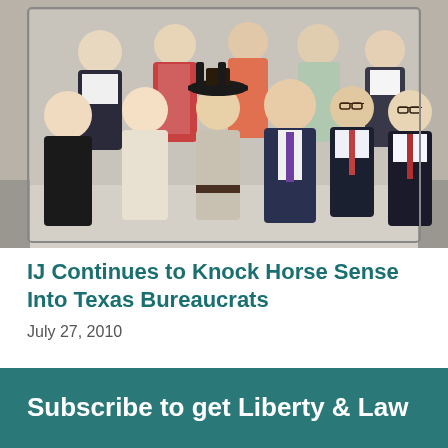[Figure (photo): Group photo of approximately 10 people standing together outdoors in front of a building. Mix of men and women, some in business attire, one man wearing a cowboy hat.]
IJ Continues to Knock Horse Sense Into Texas Bureaucrats
July 27, 2010
Subscribe to get Liberty & Law